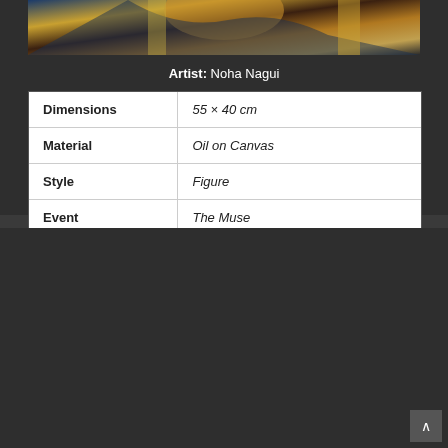[Figure (illustration): Top portion of an oil painting showing a figure with gold and blue tones, partially cropped]
Artist: Noha Nagui
| Dimensions | 55 × 40 cm |
| Material | Oil on Canvas |
| Style | Figure |
| Event | The Muse |
[Figure (illustration): Oil painting showing a figure bending forward with flowing dark hair against an oval green background, wearing a dotted garment, with a visible hand]